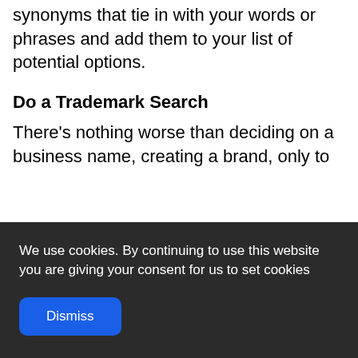synonyms that tie in with your words or phrases and add them to your list of potential options.
Do a Trademark Search
There's nothing worse than deciding on a business name, creating a brand, only to
We use cookies. By continuing to use this website you are giving your consent for us to set cookies
Dismiss